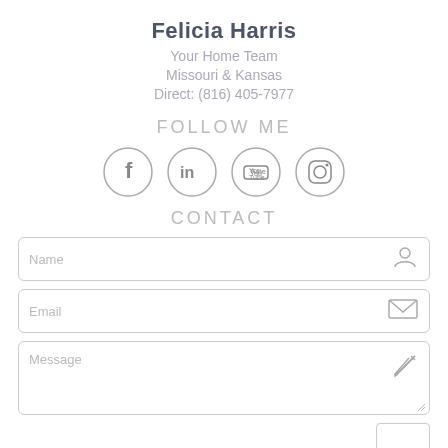Felicia Harris
Your Home Team
Missouri & Kansas
Direct: (816) 405-7977
FOLLOW ME
[Figure (illustration): Four social media icons in circles: Facebook, LinkedIn, YouTube, Instagram]
CONTACT
[Figure (infographic): Contact form with Name field (person icon), Email field (envelope icon), Message field (pencil icon), and a Send button]